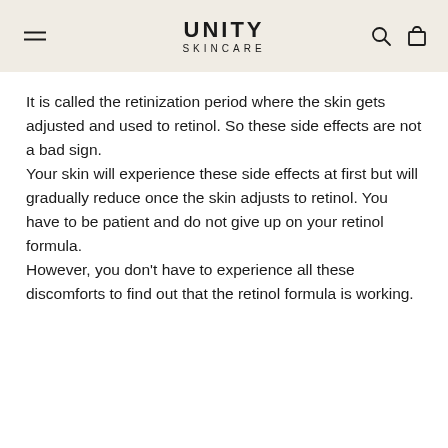UNITY SKINCARE
It is called the retinization period where the skin gets adjusted and used to retinol. So these side effects are not a bad sign.
Your skin will experience these side effects at first but will gradually reduce once the skin adjusts to retinol. You have to be patient and do not give up on your retinol formula.
However, you don’t have to experience all these discomforts to find out that the retinol formula is working.